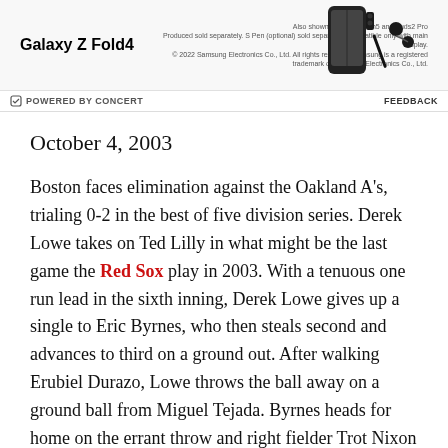[Figure (advertisement): Samsung Galaxy Z Fold4 advertisement banner showing phone image, brand name, small disclaimers, powered by Concert logo and Feedback link]
October 4, 2003
Boston faces elimination against the Oakland A's, trialing 0-2 in the best of five division series. Derek Lowe takes on Ted Lilly in what might be the last game the Red Sox play in 2003. With a tenuous one run lead in the sixth inning, Derek Lowe gives up a single to Eric Byrnes, who then steals second and advances to third on a ground out. After walking Erubiel Durazo, Lowe throws the ball away on a ground ball from Miguel Tejada. Byrnes heads for home on the errant throw and right fielder Trot Nixon throws home. The throw takes a tough hop in front of the plate, skidding by Varitek who is braced for the collision at the plate. Byrnes bounces